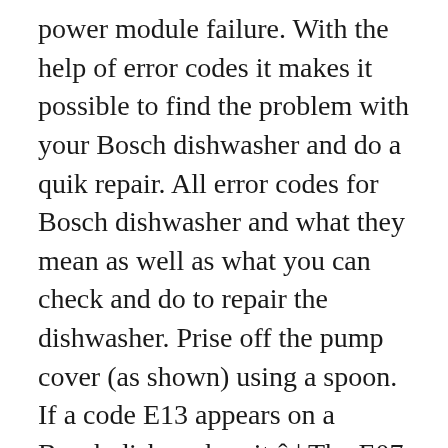power module failure. With the help of error codes it makes it possible to find the problem with your Bosch dishwasher and do a quik repair. All error codes for Bosch dishwasher and what they mean as well as what you can check and do to repair the dishwasher. Prise off the pump cover (as shown) using a spoon. If a code E13 appears on a Bosch dishwasher, it â ¦ The E07 error appears when the hole, through which water gets into the system from the hopper, closes and/or the filter gets clogged. Bosch dishwasher error codes. Take out top basket and bottom basket. This is not a problem that you can solve on your own. A worn-out seal, for example, will leave a puddle